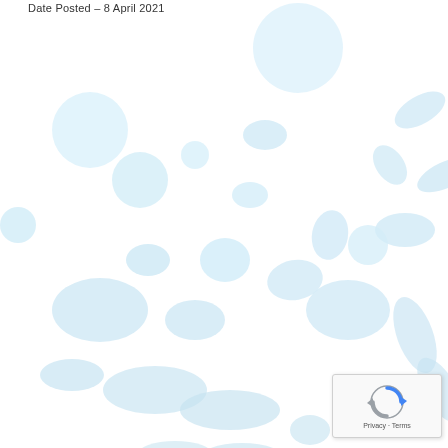Date Posted – 8 April 2021
[Figure (illustration): Decorative background pattern of light blue oval and circular bubbles/cells of varying sizes, scattered across the upper two-thirds of the page in an organic arrangement.]
[Figure (other): Google reCAPTCHA widget badge in the bottom-right corner showing the reCAPTCHA logo (circular arrows icon in blue/grey) and the text 'Privacy - Terms'.]